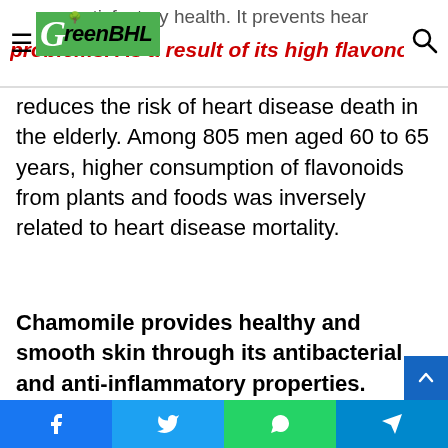GreenBHL
reduces the risk of heart disease death in the elderly. Among 805 men aged 60 to 65 years, higher consumption of flavonoids from plants and foods was inversely related to heart disease mortality.
Chamomile provides healthy and smooth skin through its antibacterial and anti-inflammatory properties.
Besides maintaining the skin's youthful appearance and immunity, its oil and flavonoids penetrate beneath the skin's surface. For centuries it has been used to treat wounds, injuries, gout,
Facebook  Twitter  WhatsApp  Telegram